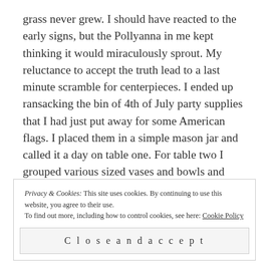grass never grew.  I should have reacted to the early signs, but the Pollyanna in me kept thinking it would miraculously sprout.  My reluctance to accept the truth lead to a last minute scramble for centerpieces.  I ended up ransacking the bin of 4th of July party supplies that I had just put away for some American flags.  I placed them in a simple mason jar and called it a day on table one.  For table two I grouped various sized vases and bowls and filled with baseball/Americana themed treats:  licorice, fun sized Baby Ruth bars, bubble gum, marshmallows and sunflower seeds.  I
Privacy & Cookies: This site uses cookies. By continuing to use this website, you agree to their use.
To find out more, including how to control cookies, see here: Cookie Policy
Close and accept